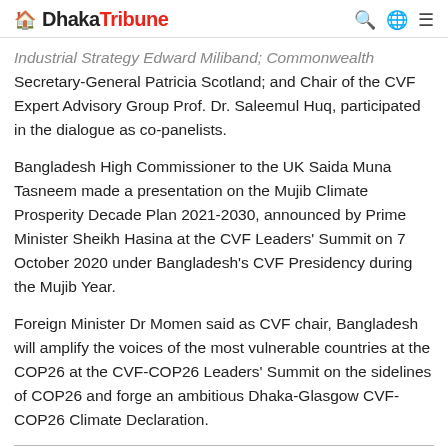Dhaka Tribune
Industrial Strategy Edward Miliband; Commonwealth Secretary-General Patricia Scotland; and Chair of the CVF Expert Advisory Group Prof. Dr. Saleemul Huq, participated in the dialogue as co-panelists.
Bangladesh High Commissioner to the UK Saida Muna Tasneem made a presentation on the Mujib Climate Prosperity Decade Plan 2021-2030, announced by Prime Minister Sheikh Hasina at the CVF Leaders' Summit on 7 October 2020 under Bangladesh's CVF Presidency during the Mujib Year.
Foreign Minister Dr Momen said as CVF chair, Bangladesh will amplify the voices of the most vulnerable countries at the COP26 at the CVF-COP26 Leaders' Summit on the sidelines of COP26 and forge an ambitious Dhaka-Glasgow CVF-COP26 Climate Declaration.
Also Read - PM Hasina seeks major economies' role to ensure sustainable future